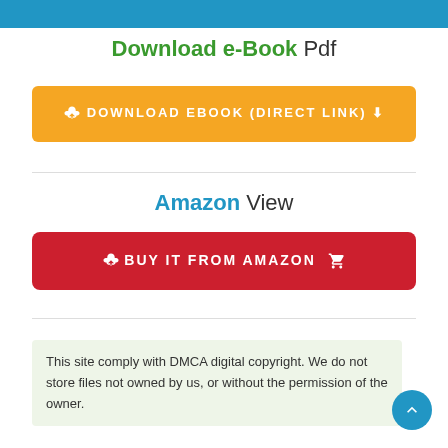[Figure (other): Blue header bar at top of page]
Download e-Book Pdf
[Figure (other): Orange download button with text: DOWNLOAD EBOOK (DIRECT LINK) with download cloud icon]
Amazon View
[Figure (other): Red button with text: BUY IT FROM AMAZON with download and cart icons]
This site comply with DMCA digital copyright. We do not store files not owned by us, or without the permission of the owner.